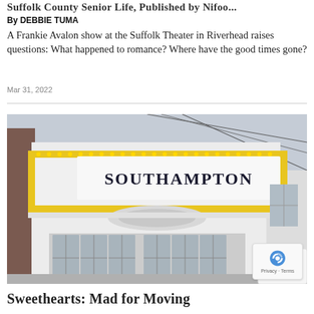Suffolk County Senior Life, Published by Nifoo...
By DEBBIE TUMA
A Frankie Avalon show at the Suffolk Theater in Riverhead raises questions: What happened to romance? Where have the good times gone?
Mar 31, 2022
[Figure (photo): Exterior photo of the Southampton theater marquee with yellow light bulb borders and black lettering reading 'SOUTHAMPTON', white facade with ornate decorative canopy, glass front doors visible below.]
Sweethearts: Mad for Moving